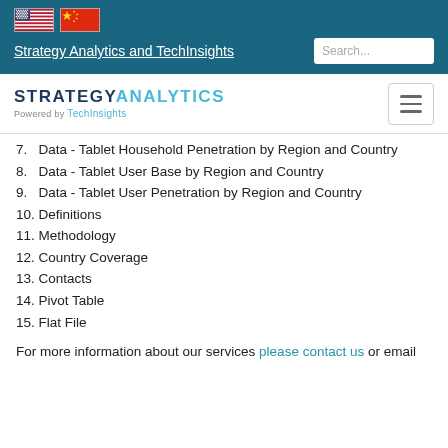Strategy Analytics and TechInsights
[Figure (logo): Strategy Analytics powered by TechInsights logo with hamburger menu icon]
7.  Data - Tablet Household Penetration by Region and Country
8.  Data - Tablet User Base by Region and Country
9.  Data - Tablet User Penetration by Region and Country
10. Definitions
11. Methodology
12. Country Coverage
13. Contacts
14. Pivot Table
15. Flat File
For more information about our services please contact us or email